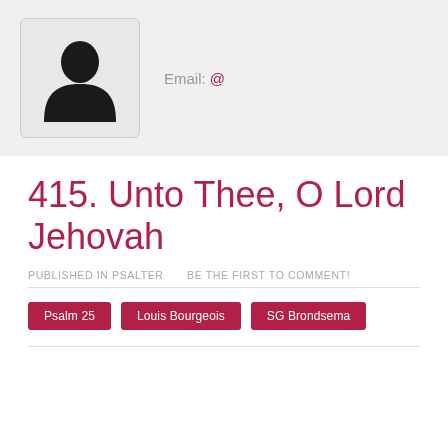[Figure (photo): User profile placeholder with silhouette avatar icon inside a light grey rounded box]
Email: @
415. Unto Thee, O Lord Jehovah
PUBLISHED IN PSALTER   BE THE FIRST TO COMMENT!
Psalm 25
Louis Bourgeois
SG Brondsema